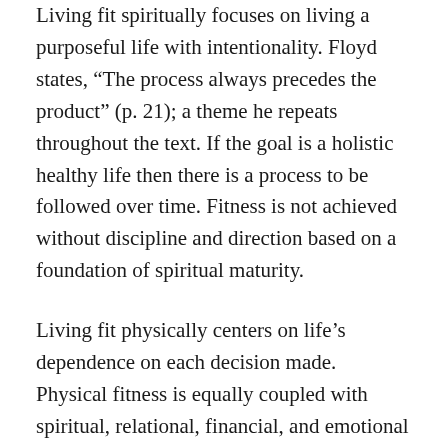Living fit spiritually focuses on living a purposeful life with intentionality. Floyd states, “The process always precedes the product” (p. 21); a theme he repeats throughout the text. If the goal is a holistic healthy life then there is a process to be followed over time. Fitness is not achieved without discipline and direction based on a foundation of spiritual maturity.
Living fit physically centers on life’s dependence on each decision made. Physical fitness is equally coupled with spiritual, relational, financial, and emotional fitness as it is on eating right and exercise. “Refuse to see your life as being compartmentalized. You are not divided and cannot live like you are” (p. 53). Floyd goes on to state we have four major problems in our lives. “We have a mind problem, a will problem, an emotional problem, and a body problem” (p. 57). Each of these areas must be